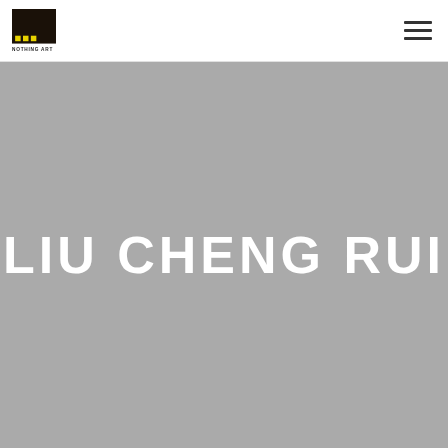[Figure (logo): Nothing Art gallery logo: black square with yellow dots/pixels on bottom row, text NOTHING ART below in small caps]
LIU CHENG RUI